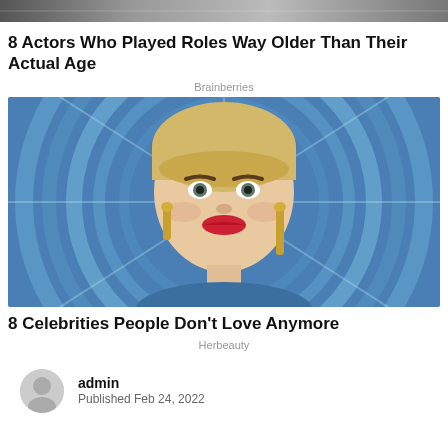[Figure (photo): Partial banner image at top of page, showing a blurred scene]
8 Actors Who Played Roles Way Older Than Their Actual Age
Brainberries
[Figure (photo): A smiling woman with short blonde hair, bold eye makeup, red lipstick, and large gold lizard earrings, in front of a blue circular light background (Katy Perry on American Idol set)]
8 Celebrities People Don't Love Anymore
Herbeauty
admin
Published Feb 24, 2022